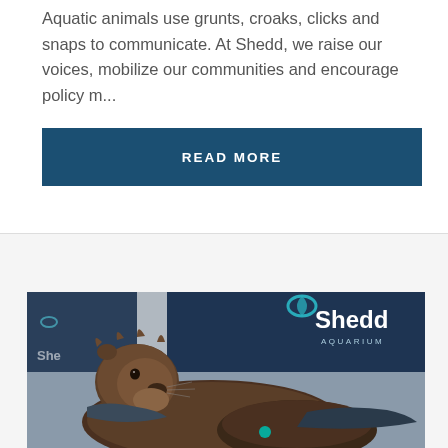Aquatic animals use grunts, croaks, clicks and snaps to communicate. At Shedd, we raise our voices, mobilize our communities and encourage policy m...
READ MORE
[Figure (photo): A Shedd Aquarium staff member in navy uniform holding a young sea otter pup. The otter is looking upward. The Shedd Aquarium logo is visible on the staff member's jacket.]